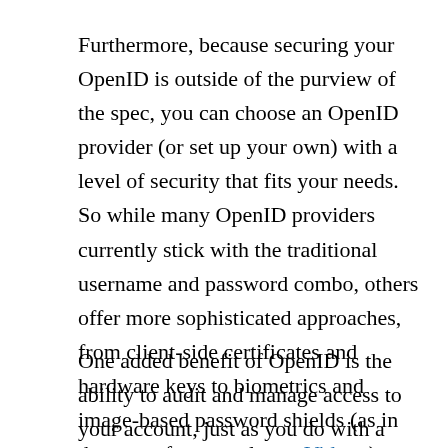Furthermore, because securing your OpenID is outside of the purview of the spec, you can choose an OpenID provider (or set up your own) with a level of security that fits your needs. So while many OpenID providers currently stick with the traditional username and password combo, others offer more sophisticated approaches, from client-side certificates and hardware keys to biometrics and image-based password shields (as in the case of my employer, Vidoop).
One added benefit of OpenID is the ability to audit and manage access to your account, just as you do with a credit card account. This means